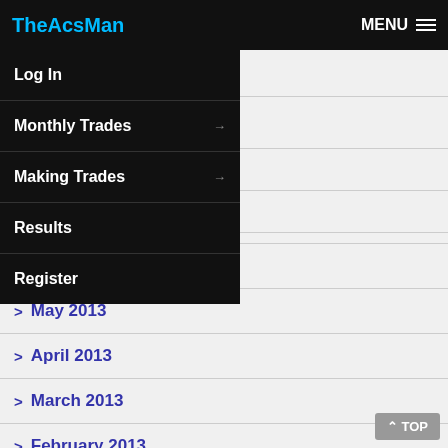TheAcsMan | MENU
November 2013
2013 (partially visible)
2013 (partially visible)
3 (partially visible)
June 2013
May 2013
April 2013
March 2013
February 2013
January 2013
Log In
Monthly Trades
Making Trades
Results
Register